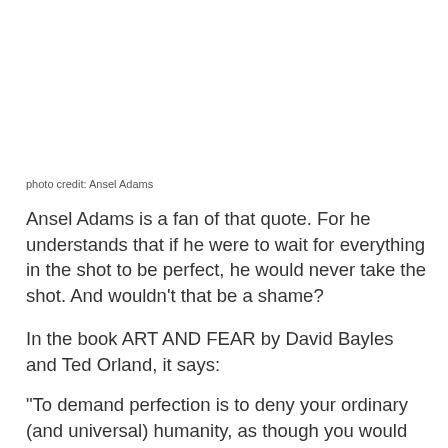[Figure (photo): Blank white photo area with photo credit for Ansel Adams]
photo credit: Ansel Adams
Ansel Adams is a fan of that quote. For he understands that if he were to wait for everything in the shot to be perfect, he would never take the shot. And wouldn't that be a shame?
In the book ART AND FEAR by David Bayles and Ted Orland, it says:
"To demand perfection is to deny your ordinary (and universal) humanity, as though you would be better off without it. Yet this humanity is the ultimate source of your work; your perfectionism denies you the very thing you need